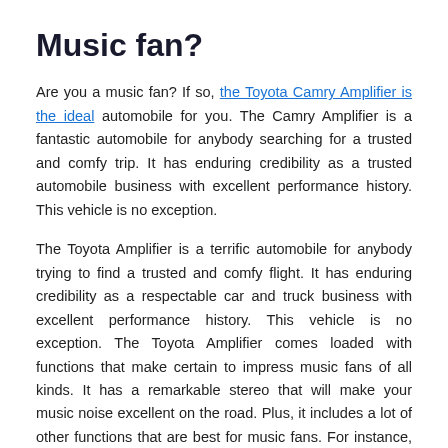Music fan?
Are you a music fan? If so, the Toyota Camry Amplifier is the ideal automobile for you. The Camry Amplifier is a fantastic automobile for anybody searching for a trusted and comfy trip. It has enduring credibility as a trusted automobile business with excellent performance history. This vehicle is no exception.
The Toyota Amplifier is a terrific automobile for anybody trying to find a trusted and comfy flight. It has enduring credibility as a respectable car and truck business with excellent performance history. This vehicle is no exception. The Toyota Amplifier comes loaded with functions that make certain to impress music fans of all kinds. It has a remarkable stereo that will make your music noise excellent on the road. Plus, it includes a lot of other functions that are best for music fans. For instance, it features an integrated navigation system that makes it simple to navigate town. It likewise has a rearview electronic camera that makes it simple to see what's behind you when you're supporting. Plus, it has lots of other